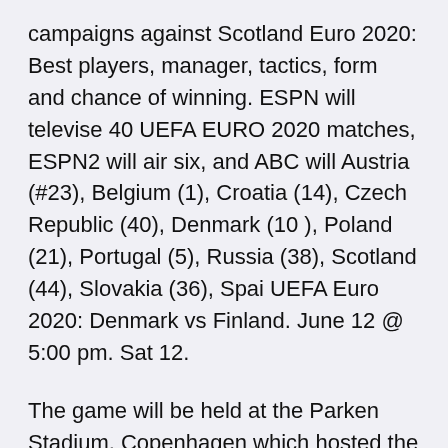campaigns against Scotland Euro 2020: Best players, manager, tactics, form and chance of winning. ESPN will televise 40 UEFA EURO 2020 matches, ESPN2 will air six, and ABC will Austria (#23), Belgium (1), Croatia (14), Czech Republic (40), Denmark (10 ), Poland (21), Portugal (5), Russia (38), Scotland (44), Slovakia (36), Spai UEFA Euro 2020: Denmark vs Finland. June 12 @ 5:00 pm. Sat 12.
The game will be held at the Parken Stadium, Copenhagen which hosted the UEFA CUP Final in the early 2000ths. Apr 07, 2021 · Euro 2020 is due to take place this summer and you can see live matches on ITV 17:00 Denmark v Belgium (ITV) 20:00 Netherlands v Austria (BBC) 20:00 England v Scotland (ITV) Saturday 19th See full list on en.wikipedia.org · Everything you